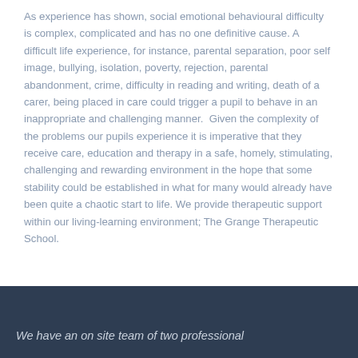As experience has shown, social emotional behavioural difficulty is complex, complicated and has no one definitive cause. A difficult life experience, for instance, parental separation, poor self image, bullying, isolation, poverty, rejection, parental abandonment, crime, difficulty in reading and writing, death of a carer, being placed in care could trigger a pupil to behave in an inappropriate and challenging manner.  Given the complexity of the problems our pupils experience it is imperative that they receive care, education and therapy in a safe, homely, stimulating, challenging and rewarding environment in the hope that some stability could be established in what for many would already have been quite a chaotic start to life. We provide therapeutic support within our living-learning environment; The Grange Therapeutic School.
We have an on site team of two professional